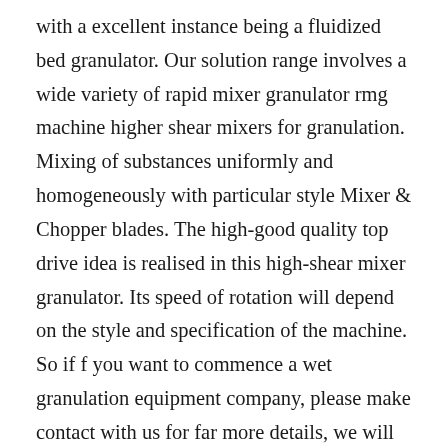with a excellent instance being a fluidized bed granulator. Our solution range involves a wide variety of rapid mixer granulator rmg machine higher shear mixers for granulation. Mixing of substances uniformly and homogeneously with particular style Mixer & Chopper blades. The high-good quality top drive idea is realised in this high-shear mixer granulator. Its speed of rotation will depend on the style and specification of the machine. So if f you want to commence a wet granulation equipment company, please make contact with us for far more details, we will send you all quotations for machines, and drawings. The Geometry in each scale (either Improvement or Production processes) obey the proportions of the essential linear dimensions.